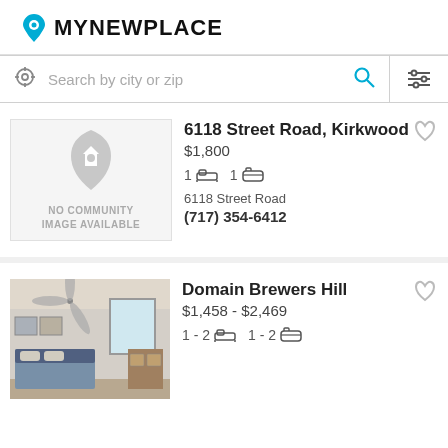[Figure (logo): MyNewPlace logo with blue location pin icon and bold text]
Search by city or zip
6118 Street Road, Kirkwood
$1,800
1 bed 1 bath
6118 Street Road
(717) 354-6412
[Figure (other): No community image available placeholder]
Domain Brewers Hill
$1,458 - $2,469
1 - 2 bed 1 - 2 bath
[Figure (photo): Interior photo of an apartment bedroom with ceiling fan]